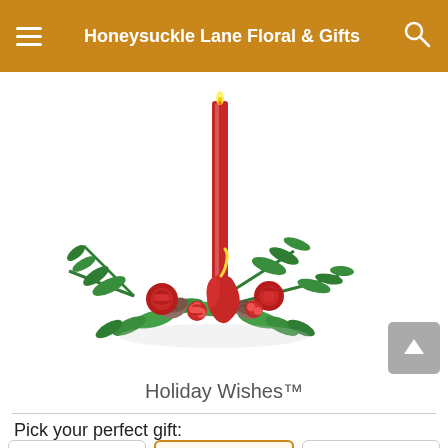Honeysuckle Lane Floral & Gifts
[Figure (photo): Holiday Wishes floral centerpiece with a tall red candle, red anthurium flower, red roses, red carnations, pine cones, and green holiday greenery including cedar and fir branches.]
Holiday Wishes™
Pick your perfect gift: